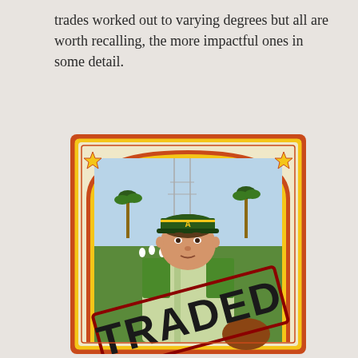trades worked out to varying degrees but all are worth recalling, the more impactful ones in some detail.
[Figure (photo): A vintage baseball card featuring a player wearing an Oakland Athletics cap and green/white uniform, standing on a baseball field with palm trees in the background. A large diagonal 'TRADED' stamp overlays the lower portion of the card. The card has an orange and yellow border with a rounded arch design and gold star decorations in the upper corners.]